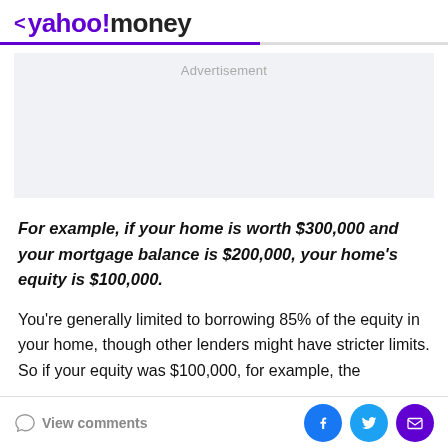< yahoo!money
[Figure (other): Advertisement placeholder box with light gray background and 'Advertisement' label in gray text]
For example, if your home is worth $300,000 and your mortgage balance is $200,000, your home's equity is $100,000.
You're generally limited to borrowing 85% of the equity in your home, though other lenders might have stricter limits. So if your equity was $100,000, for example, the
View comments | Facebook | Twitter | Mail